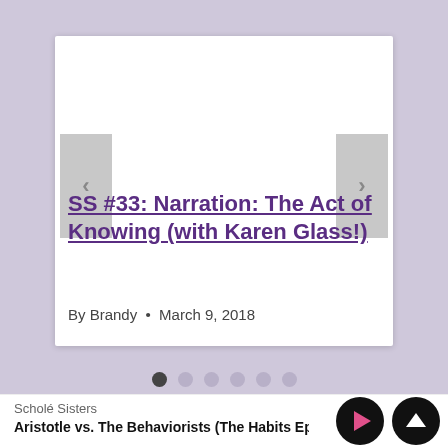[Figure (screenshot): A website UI screenshot showing a carousel card with navigation arrows (left and right), a white card area, pagination dots, and a bottom media player bar. The card displays a podcast episode title and metadata.]
SS #33: Narration: The Act of Knowing (with Karen Glass!)
By Brandy  •  March 9, 2018
Scholé Sisters
Aristotle vs. The Behaviorists (The Habits Epi: